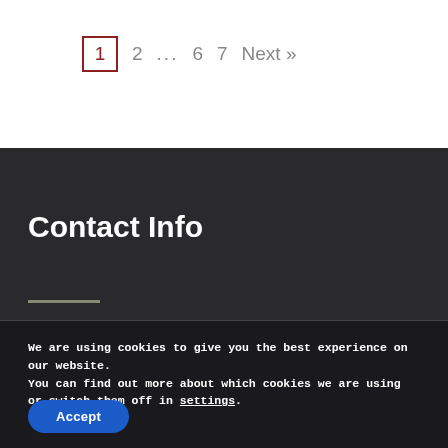1  2  ...  6  7  Next »
Contact Info
We are using cookies to give you the best experience on our website.
You can find out more about which cookies we are using or switch them off in settings.
Accept